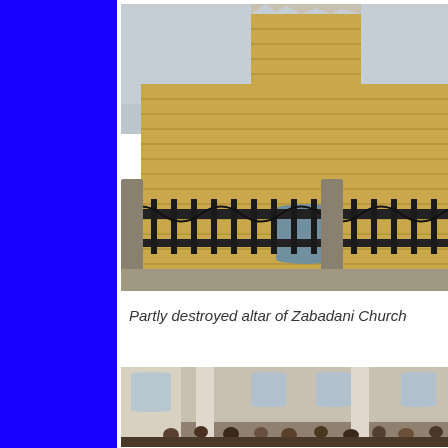[Figure (photo): Exterior view of partly destroyed Zabadani Church showing brick bell tower with damaged top and ornate iron fence/railing in foreground, photographed from a low angle looking upward]
Partly destroyed altar of Zabadani Church
[Figure (photo): Interior view of a large church building with white columns and arched windows, crowded with people gathered inside]